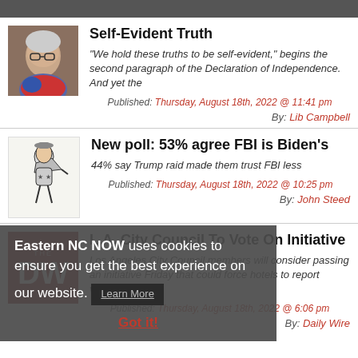[Figure (other): Dark top navigation bar]
[Figure (photo): Photo of a woman with gray hair and glasses]
Self-Evident Truth
“We hold these truths to be self-evident,” begins the second paragraph of the Declaration of Independence. And yet the
Published: Thursday, August 18th, 2022 @ 11:41 pm
By: Lib Campbell
[Figure (illustration): Illustration of a herald/crier figure]
New poll: 53% agree FBI is Biden’s
44% say Trump raid made them trust FBI less
Published: Thursday, August 18th, 2022 @ 10:25 pm
By: John Steed
Eastern NC NOW uses cookies to ensure you get the best experience on our website.
Learn More
[Figure (logo): Daily Wire DW logo]
L.A. City Council To Vote On Initiative
Los Angeles City Council members will consider passing an initiative Friday that could force hotels to report vacancies
Published: Thursday, August 18th, 2022 @ 6:06 pm
By: Daily Wire